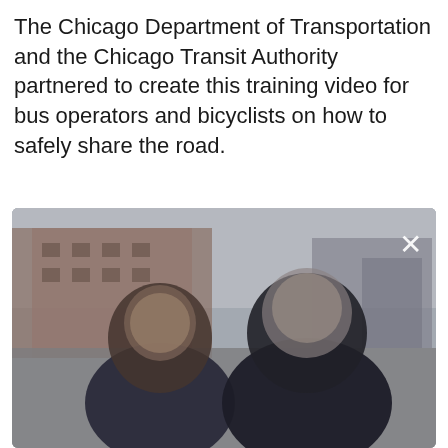The Chicago Department of Transportation and the Chicago Transit Authority partnered to create this training video for bus operators and bicyclists on how to safely share the road.
[Figure (photo): A blurry outdoor video still showing two people standing in front of a brick building/urban background. A white 'X' close button is visible in the upper right corner of the image.]